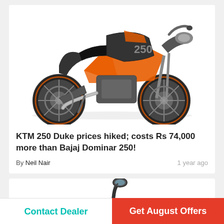[Figure (photo): KTM 250 Duke motorcycle in black and orange, side profile view on white background]
KTM 250 Duke prices hiked; costs Rs 74,000 more than Bajaj Dominar 250!
By Neil Nair   1 year ago
[Figure (photo): Partial view of a scooter or motorcycle handlebar/mirror, partially visible at bottom of page]
Contact Dealer
Get August Offers